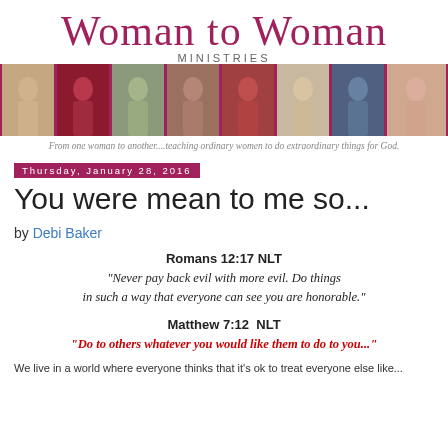[Figure (logo): Woman to Woman Ministries logo with script text and 'MINISTRIES' subtitle]
[Figure (photo): Strip of eight photos of women across the width of the page with maroon/mauve background]
From one woman to another....teaching ordinary women to do extraordinary things for God.
Thursday, January 28, 2016
You were mean to me so...
by Debi Baker
Romans 12:17 NLT
"Never pay back evil with more evil. Do things in such a way that everyone can see you are honorable."
Matthew 7:12  NLT
"Do to others whatever you would like them to do to you..."
We live in a world where everyone thinks that it's ok to treat everyone else like...